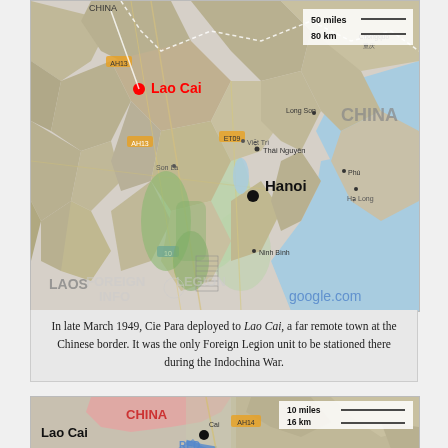[Figure (map): Google Maps regional map showing northern Vietnam and southern China. Red dot marks Lao Cai near the Chinese border. Hanoi is marked with a black dot. LAOS label visible lower left. Scale shows 50 miles / 80 km. Watermark reads FOREIGN LEGION INFO and google.com.]
In late March 1949, Cie Para deployed to Lao Cai, a far remote town at the Chinese border. It was the only Foreign Legion unit to be stationed there during the Indochina War.
[Figure (map): Close-up map of Lao Cai area. China highlighted in pink to the north. Lao Cai city marked with black dot. Red River (RED) visible. Scale shows 10 miles / 16 km.]